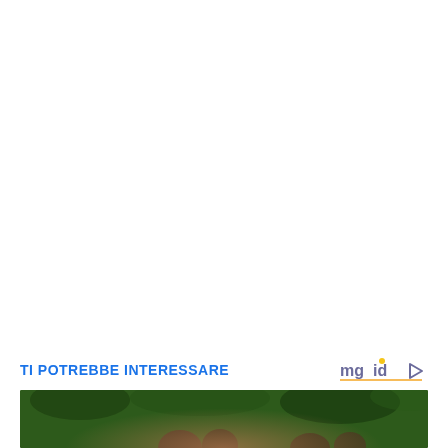TI POTREBBE INTERESSARE
[Figure (logo): mgid logo with play button icon]
[Figure (photo): People outdoors with green foliage background, partial view cropped at bottom of page]